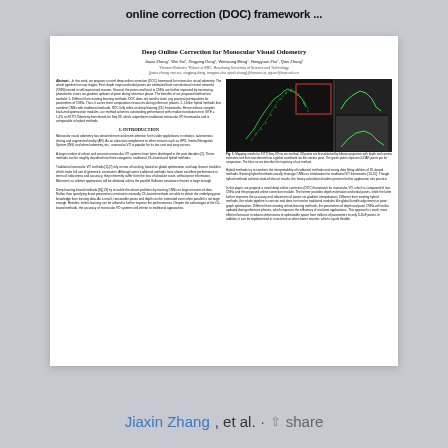online correction (DOC) framework ...
Deep Online Correction for Monocular Visual Odometry
Jiaxin Zhang, Wei Sui, Xingping Dong, Wenwang Meng, Hongyuan Zhu, Qian Zhang
Horizon Robotics, Robert at ERC, Huazhong University of Science and Technology
{jiaxin.zhang, wei.sui, xingping.dong, tengwei.zhu, qianli.zhang}@horizon.ai, qijuan@hust.edu.cn
Abstract—In this work, we propose a novel deep online correction (DOC) framework for monocular visual odometry. The whole pipeline has two stages. First, depth maps and initial poses are estimated from convolutional neural networks (CNN) trained in self-supervised manner. Second, the poses and local to CNNs are further improved by minimizing photometric errors via gradient updates of pose during inference phase. The benefits of our proposed method are twohold: 1- Different from existing learning methods, DOC does not need to claim any practical prerequisites for parameters of CNNs. Thus, it saves more computation resources during inference phases. 2- Unlike hybrid methods that combine CNNs with traditional methods, DOC fully relies on deep learning (DL) frameworks. Hence without complex back-end optimization modules, our method achieves outstanding performance with residue translaton error SITE ≤ 1.4% on KITTI Odometry benchmark for Seq 09, which outperforms traditional monocular VO frameworks and is comparable to hybrid methods.
I. INTRODUCTION
Monocular visual odometry has attracted more and more attention for its wide applications in robotics, autonomous driving and augmented reality (AR). As an attractive complement to other sensors such as GPS, Inertial Navigation System (INS) and wheel odometry, etc., monocular VO is popular for its low cost and easy access.
[Figure (photo): Mapping results showing KITTI Seq. 09 trajectory with depth and camera estimates transformed into a global coordinate via the camera pose. Green points represent LiDAR points, blue curves show the trajectory of our method.]
Fig. 1: Mapping results for KITTI Seq. 09 via our method. 3D points are first obtained by bilinear projection with depth and camera estimates and then transformed into a global coordinate via the camera pose. The green points represent LiDAR points put for comparison. The blue curves describe the trajectory of our method.
A large number of robust and accurate monocular VO systems have been developed in the past decades. These methods can be roughly classified into three categories: traditional, DL-based and hybrid methods.
Traditional monocular VO methods rely on two of tracking, based on global optimization and loop closure modules, which make full use of geometric constraints. Although some traditional methods have shown excellent performance in terms of robustness and accuracy, they inherently suffer from the loss of absolute scale, without prior information. Moreover, no relative appearance will be obtained unless the parallel Software assistance feature is large enough.
Deep learning based methods try to tackle the above problems by training CNNs on large amounts of data. Rather than specifying those parameters constraints manually, DL-based methods are able to obtain the underlying prior knowledge from training data. As a result, reasonable poses and depth can be estimated even when parallel is not large enough. Besides, online-learning can be utilized to further improve the performances. Despite the advantages of the DL-based methods, the accuracy of monocular VO systems still inferior to traditional approaches.
Hybrid methods try to combine the interpretability of traditional methods and strong data fitting abilities of DL-based methods. Existing hybrid methods usually leverage CNNs as initialization for traditional VO frameworks. Though hybrid methods achieve state-of-the-art results, the heavy calculation burdens present further application into practice.
In this paper, we propose a novel deep online correction (DOC) framework for monocular VO, which is composed of two CNNs and the proposed online correction module. The former provides depth estimation and initial poses, while the latter further improves the accuracy and robustness of poses via gradient interpolations. Different from existing hybrid methods, the whole pipeline is concise and does not involve traditional modules like global bundle adjustment or pose graph optimization. Different from existing online-learning methods, the parameters of depth and pose CNNs will not be updated during inference phases, which improves the efficiency of real-time applications. This approach is much more efficient because it reduces dimensions of optimizable space from millions of parameters to only 6-DoF poses. In addition, it can be implemented in a test-time or other-frame manner, which is quite flexible.
Jiaxin Zhang, et al. · share